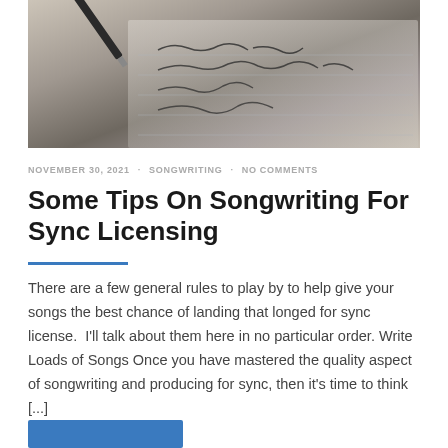[Figure (photo): Close-up photo of a pen writing handwritten notes on lined paper, in black and white/sepia tones]
NOVEMBER 30, 2021 · SONGWRITING · NO COMMENTS
Some Tips On Songwriting For Sync Licensing
There are a few general rules to play by to help give your songs the best chance of landing that longed for sync license.  I'll talk about them here in no particular order. Write Loads of Songs Once you have mastered the quality aspect of songwriting and producing for sync, then it's time to think [...]